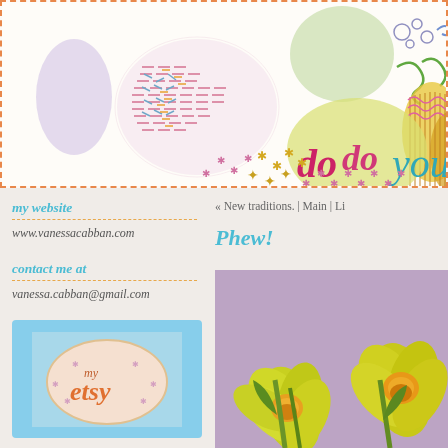[Figure (illustration): Colorful banner header with pastel illustrated shapes, circles, stars, and handwritten text 'do you' in cursive on yellow/green oval shapes. Various pastel colored dots, asterisks, and decorative elements scattered across white background.]
my website
www.vanessacabban.com
contact me at
vanessa.cabban@gmail.com
my etsy shop
[Figure (logo): Etsy shop badge with light blue background showing 'my etsy' text in decorative style]
« New traditions. | Main | Li
Phew!
[Figure (photo): Close-up photograph of yellow daffodil flowers against a purple/mauve background]